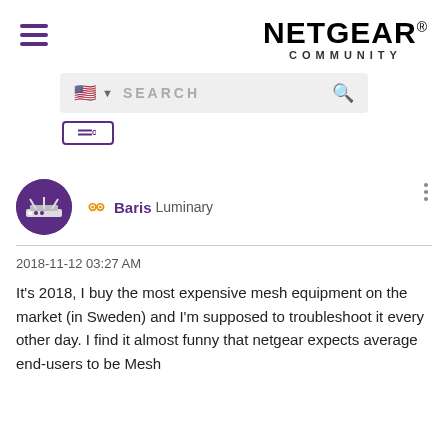[Figure (logo): NETGEAR COMMUNITY logo with hamburger menu icon]
[Figure (screenshot): Search bar with US flag locale selector and search icon, plus sign-in button stub]
Baris Luminary
2018-11-12 03:27 AM
It's 2018, I buy the most expensive mesh equipment on the market (in Sweden) and I'm supposed to troubleshoot it every other day. I find it almost funny that netgear expects average end-users to be Mesh